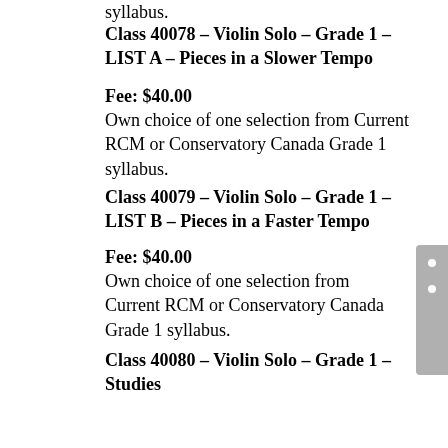syllabus.
Class 40078 – Violin Solo – Grade 1 – LIST A – Pieces in a Slower Tempo
Fee: $40.00
Own choice of one selection from Current RCM or Conservatory Canada Grade 1 syllabus.
Class 40079 – Violin Solo – Grade 1 – LIST B – Pieces in a Faster Tempo
Fee: $40.00
Own choice of one selection from Current RCM or Conservatory Canada Grade 1 syllabus.
Class 40080 – Violin Solo – Grade 1 – Studies
Fee: $40.00
Own choice of one selection from Current RCM or Conservatory Canada Grade 1 syllabus.
Class 40081 – Violin Solo – Introductory
Fee: $40.00
Own choice of two selections from any